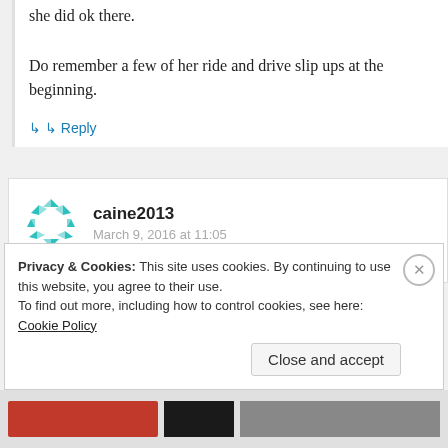she did ok there. Do remember a few of her ride and drive slip ups at the beginning.
↳ Reply
[Figure (other): User avatar icon for caine2013 - teal geometric pattern circle]
caine2013
March 9, 2016 at 11:05
Glad to see she's back in her comfort zone.
Privacy & Cookies: This site uses cookies. By continuing to use this website, you agree to their use. To find out more, including how to control cookies, see here: Cookie Policy
Close and accept